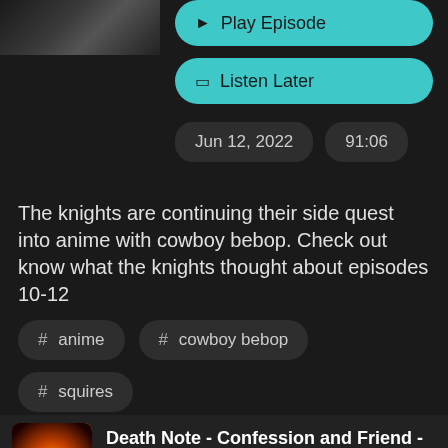[Figure (photo): Partial thumbnail image top-left, dark grayscale photo]
▶ Play Episode
🔖 Listen Later
Jun 12, 2022   91:06
The knights are continuing their side quest into anime with cowboy bebop. Check out know what the knights thought about episodes 10-12
# anime
# cowboy bebop
# squires
Death Note - Confession and Friend - Stoner Shinigami